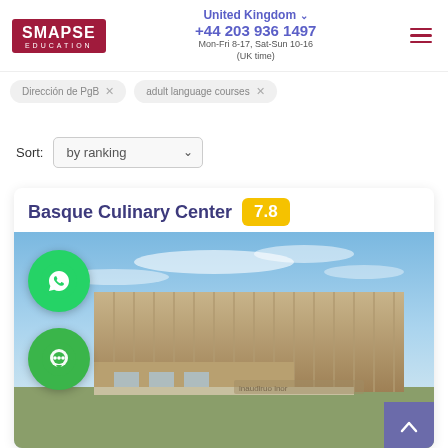SMAPSE EDUCATION — United Kingdom +44 203 936 1497 Mon-Fri 8-17, Sat-Sun 10-16 (UK time)
Dirección de PgB ×   adult language courses ×
Sort:  by ranking
Basque Culinary Center  7.8
[Figure (photo): Exterior photo of Basque Culinary Center building — modern angular tan/beige facade with vertical panel cladding against a blue sky with wispy clouds.]